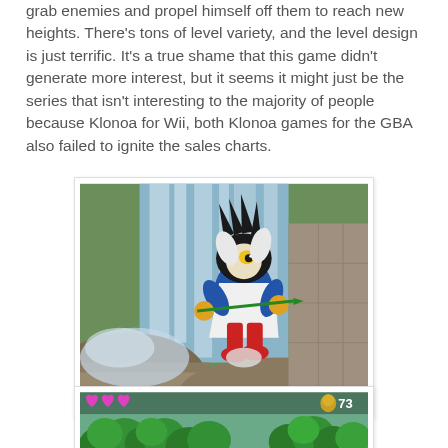grab enemies and propel himself off them to reach new heights. There's tons of level variety, and the level design is just terrific. It's a true shame that this game didn't generate more interest, but it seems it might just be the series that isn't interesting to the majority of people because Klonoa for Wii, both Klonoa games for the GBA also failed to ignite the sales charts.
[Figure (screenshot): 3D game screenshot showing a cartoon animal character (resembling Klonoa) in a blue outfit with red shoes, jumping or flying through a rocky outdoor environment with a waterfall in the background. The character appears to be holding something while in mid-air.]
[Figure (screenshot): 2.5D side-scrolling game screenshot showing green treetops/forest level with pink heart icons on the left side and the number 73 displayed with a yellow character icon on the right side of a HUD bar.]